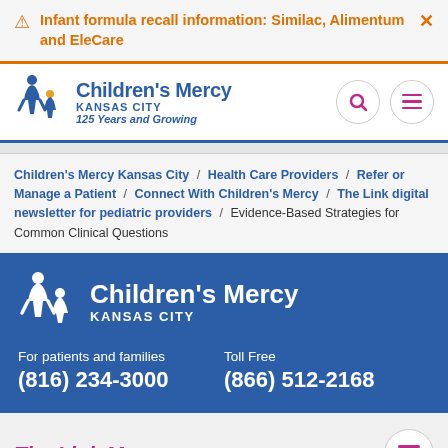Infant formula recall information: Similac, Alimentum and EleCare
[Figure (logo): Children's Mercy Kansas City logo with tagline '125 Years and Growing']
Children's Mercy Kansas City / Health Care Providers / Refer or Manage a Patient / Connect With Children's Mercy / The Link digital newsletter for pediatric providers / Evidence-Based Strategies for Common Clinical Questions
[Figure (logo): Children's Mercy Kansas City white logo on blue background]
For patients and families
(816) 234-3000
Toll Free
(866) 512-2168
The Link Menu